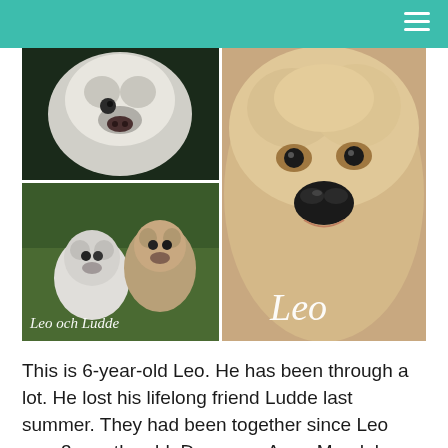[Figure (photo): Collage of four dog photos: top-left shows a white fluffy dog close-up; bottom-left shows two dogs Leo and Ludde sitting on grass with caption 'Leo och Ludde'; right panel shows a very close-up shot of Leo's face with caption 'Leo']
This is 6-year-old Leo. He has been through a lot. He lost his lifelong friend Ludde last summer. They had been together since Leo was 3 months old. Dog mum Anna Magdalena felt desperate and worried that Leo might not be feeling well